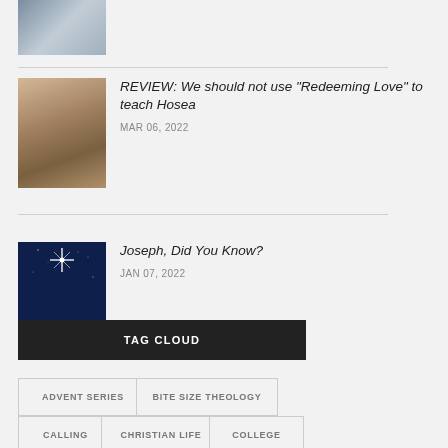[Figure (photo): Partial article thumbnail at top of page, cropped photo visible]
[Figure (photo): Movie still showing two people, a woman and a man, related to 'Redeeming Love' film]
REVIEW: We should not use “Redeeming Love” to teach Hosea
MAR 06, 2022
[Figure (photo): Night sky with bright star and silhouettes of people, nativity scene]
Joseph, Did You Know?
JAN 07, 2022
TAG CLOUD
ADVENT SERIES
BITE SIZE THEOLOGY
CALLING
CHRISTIAN LIFE
COLLEGE